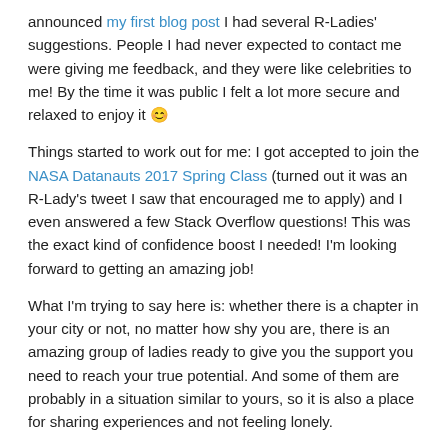announced my first blog post I had several R-Ladies' suggestions. People I had never expected to contact me were giving me feedback, and they were like celebrities to me! By the time it was public I felt a lot more secure and relaxed to enjoy it 😊
Things started to work out for me: I got accepted to join the NASA Datanauts 2017 Spring Class (turned out it was an R-Lady's tweet I saw that encouraged me to apply) and I even answered a few Stack Overflow questions! This was the exact kind of confidence boost I needed! I'm looking forward to getting an amazing job!
What I'm trying to say here is: whether there is a chapter in your city or not, no matter how shy you are, there is an amazing group of ladies ready to give you the support you need to reach your true potential. And some of them are probably in a situation similar to yours, so it is also a place for sharing experiences and not feeling lonely.
Are you still on the fence? You can:
Mention me on Twitter
E-mail info@rladies.org (or feel free to email me directly at daniela.vazquez@gmail.com)
Follow us on Twitter: @RLadiesGlobal